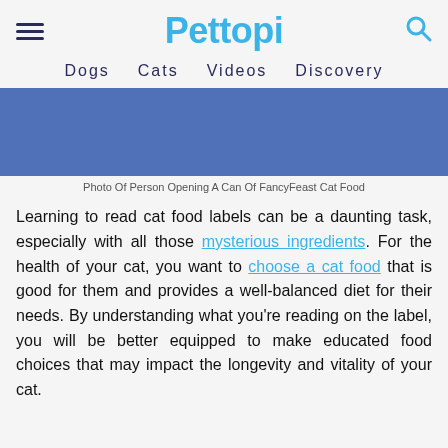Pettopi
Dogs   Cats   Videos   Discovery
[Figure (photo): Blue/dark blue banner image placeholder for a photo of a person opening a can of FancyFeast Cat Food]
Photo Of Person Opening A Can Of FancyFeast Cat Food
Learning to read cat food labels can be a daunting task, especially with all those mysterious ingredients. For the health of your cat, you want to choose a cat food that is good for them and provides a well-balanced diet for their needs. By understanding what you're reading on the label, you will be better equipped to make educated food choices that may impact the longevity and vitality of your cat.